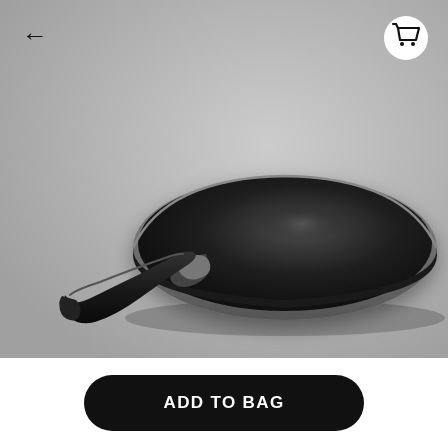[Figure (photo): A black non-stick frying pan with a dark ergonomic handle, photographed from a slightly elevated angle on a gray background. The pan is viewed from the side showing its interior cooking surface with a subtle sheen.]
ADD TO BAG